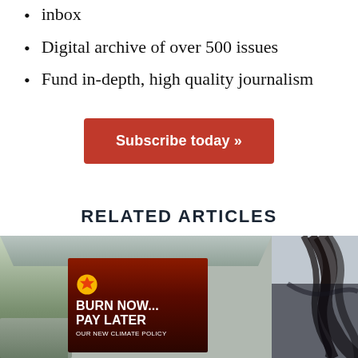inbox
Digital archive of over 500 issues
Fund in-depth, high quality journalism
Subscribe today »
RELATED ARTICLES
[Figure (photo): Bus shelter with a parody Shell advertisement reading BURN NOW... PAY LATER OUR NEW CLIMATE POLICY in white text on dark red background with Shell logo]
[Figure (photo): Partial photo of a person with dark hair blowing in the wind against a light background]